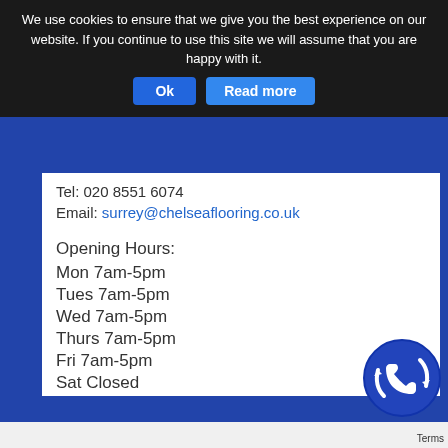We use cookies to ensure that we give you the best experience on our website. If you continue to use this site we will assume that you are happy with it.
Ok | Read more
Tel: 020 8551 6074
Email: surrey@chelseaflooring.co.uk
Opening Hours:
Mon 7am-5pm
Tues 7am-5pm
Wed 7am-5pm
Thurs 7am-5pm
Fri 7am-5pm
Sat Closed
Sun Closed
[Figure (illustration): Blue circular phone/call icon button in bottom right corner]
Terms